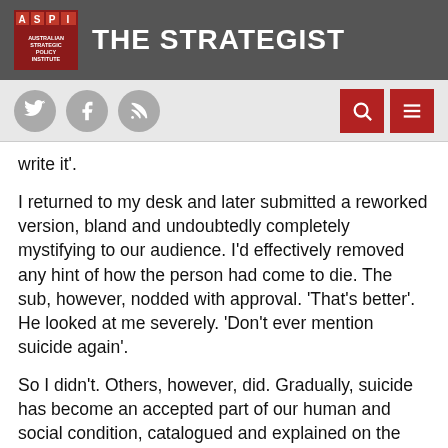ASPI - THE STRATEGIST
write it'.
I returned to my desk and later submitted a reworked version, bland and undoubtedly completely mystifying to our audience. I'd effectively removed any hint of how the person had come to die. The sub, however, nodded with approval. 'That's better'. He looked at me severely. 'Don't ever mention suicide again'.
So I didn't. Others, however, did. Gradually, suicide has become an accepted part of our human and social condition, catalogued and explained on the news. Today you'll hear stories studded with extraneous details (even on the ABC) that I, even then, wouldn't have dreamed of mentioning.
At ASPI's recent seminar on the first hundred days of the campaign against ISIL the Executive Director brought up an